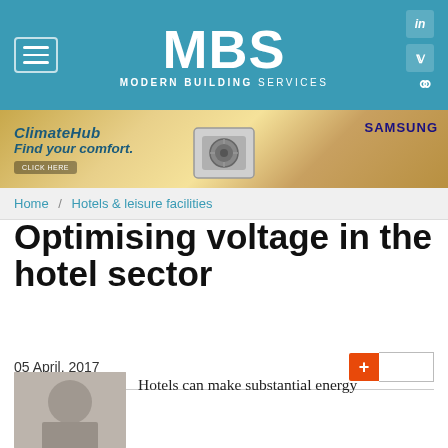[Figure (screenshot): MBS Modern Building Services website header with teal background, MBS logo in white, hamburger menu icon, LinkedIn and Twitter social icons, search icon]
[Figure (screenshot): Samsung ClimateHub advertisement banner with golden gradient background showing an outdoor AC unit]
Home / Hotels & leisure facilities
Optimising voltage in the hotel sector
05 April, 2017
Hotels can make substantial energy